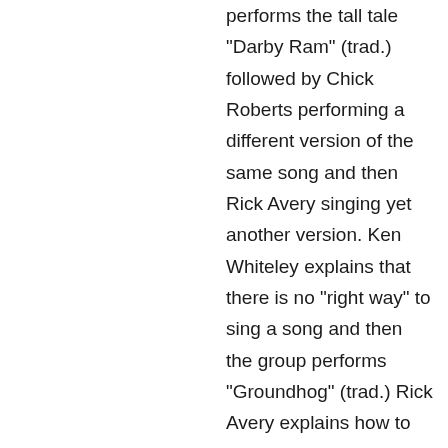performs the tall tale "Darby Ram" (trad.) followed by Chick Roberts performing a different version of the same song and then Rick Avery singing yet another version. Ken Whiteley explains that there is no "right way" to sing a song and then the group performs "Groundhog" (trad.) Rick Avery explains how to manipulate instruments to make them sound like other things. They play a fiddle to sound like a train and a banjo to sound like a chicken. Chick Roberts plays the harmonica to sound like a train and then Bram Morrison uses a guitar as a drum and Avery plays a penny whistle. Ken Whiteley performs "Reuben's Train" (trad.). Sharon Hampson sings the Canadian song "The Girls of Ontario" (trad.) and Chick Roberts performs an